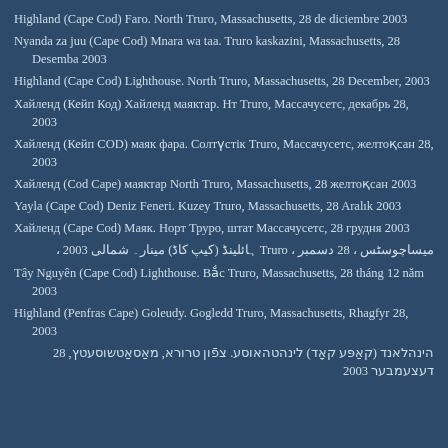Highland (Cape Cod) Faro. North Truro, Massachusetts, 28 de diciembre 2003
Nyanda za juu (Cape Cod) Mnara wa taa. Truro kaskazini, Massachusetts, 28 Desemba 2003
Highland (Cape Cod) Lighthouse. North Truro, Massachusetts, 28 December, 2003
Хайленд (Кейп Код) Хайленд маяктар. Нт Truro, Массачусетс, декабрь 28, 2003
Хайленд (Кейп COD) маяк фара. Солтүстік Truro, Массачусетс, желтоқсан 28, 2003
Хайленд (Cod Cape) маяктар North Truro, Massachusetts, 28 желтоқсан 2003
Yayla (Cape Cod) Deniz Feneri. Kuzey Truro, Massachusetts, 28 Aralık 2003
Хайленд (Cape Cod) Маяк. Норт Труро, штат Массачусетс, 28 грудня 2003
میساچوسٹس ، 28 دسمبر ، Truro ہائلینڈ (کیپ کاڈ) مینار۔ شمالی 2003 ،
Tây Nguyên (Cape Cod) Lighthouse. Bắc Truro, Massachusetts, 28 tháng 12 năm 2003
Highland (Penfras Cape) Goleudy. Gogledd Truro, Massachusetts, Rhagfyr 28, 2003
הינהלאנד (קאַפּע קאָד) לינהטהאוסע. צפֿון טרורא, מאַסאַטשוסעטץ, 28 דעצעמבער 2003